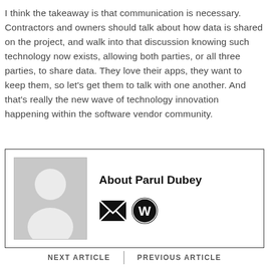I think the takeaway is that communication is necessary. Contractors and owners should talk about how data is shared on the project, and walk into that discussion knowing such technology now exists, allowing both parties, or all three parties, to share data. They love their apps, they want to keep them, so let's get them to talk with one another. And that's really the new wave of technology innovation happening within the software vendor community.
[Figure (other): Author box with placeholder avatar image and name 'About Parul Dubey' with email and WordPress icons]
NEXT ARTICLE  |  PREVIOUS ARTICLE